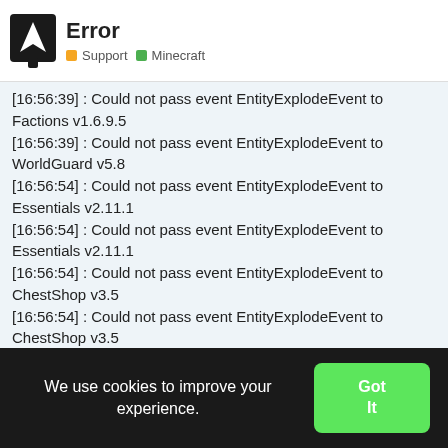Error | Support | Minecraft
[16:56:39] : Could not pass event EntityExplodeEvent to Factions v1.6.9.5
[16:56:39] : Could not pass event EntityExplodeEvent to WorldGuard v5.8
[16:56:54] : Could not pass event EntityExplodeEvent to Essentials v2.11.1
[16:56:54] : Could not pass event EntityExplodeEvent to Essentials v2.11.1
[16:56:54] : Could not pass event EntityExplodeEvent to ChestShop v3.5
[16:56:54] : Could not pass event EntityExplodeEvent to ChestShop v3.5
[16:56:54] : Could not pass event EntityExplodeEvent to CreativeGates v1.4
[16:56:54] : Could not pass event EntityExplodeEvent to
We use cookies to improve your experience.